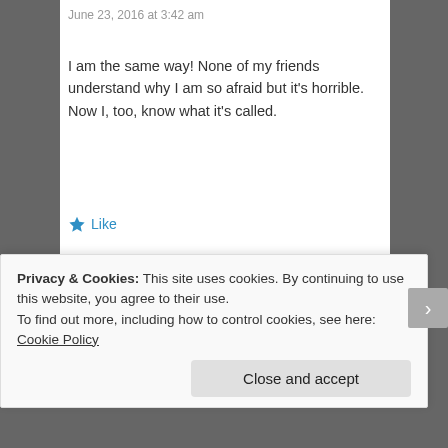June 23, 2016 at 3:42 am
I am the same way! None of my friends understand why I am so afraid but it's horrible. Now I, too, know what it's called.
★ Like
Reply
Pingback: The Abyss | LoneSwimmer
[Figure (other): Advertisement banner for a journaling app with blue background, text 'The only journaling app you'll ever need.' and a 'Get the app' button]
Privacy & Cookies: This site uses cookies. By continuing to use this website, you agree to their use.
To find out more, including how to control cookies, see here: Cookie Policy
Close and accept